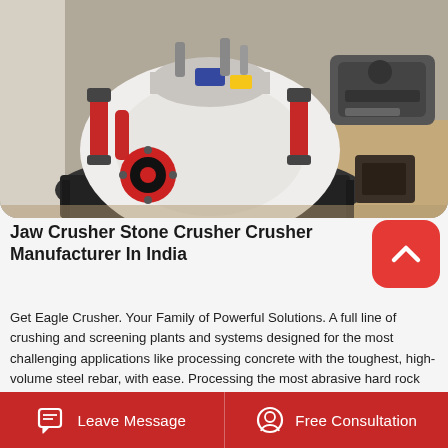[Figure (photo): Industrial cone/jaw crusher machine, white and red colored, with hydraulic cylinders, mounted on a black steel frame, photographed outdoors]
Jaw Crusher Stone Crusher Crusher Manufacturer In India
Get Eagle Crusher. Your Family of Powerful Solutions. A full line of crushing and screening plants and systems designed for the most challenging applications like processing concrete with the toughest, high-volume steel rebar, with ease. Processing the most abrasive hard rock without equipment fatigue.ITC-300 Mobile Cone Crusher Features. Steel hopper with adjustable feed rate via control panel, remote control or fully automatic
Leave Message   Free Consultation